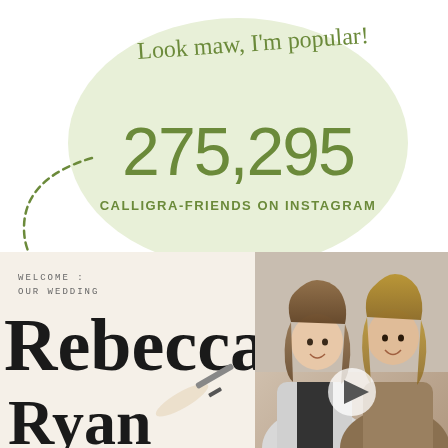[Figure (infographic): Light green oval blob background shape]
Look maw, I'm popular!
275,295
CALLIGRA-FRIENDS ON INSTAGRAM
[Figure (photo): Close-up photo of a hand writing calligraphy 'Rebecca Ryan' with a marker pen on a wedding welcome sign]
[Figure (photo): Two smiling women with long hair posing together, with a video play button overlay]